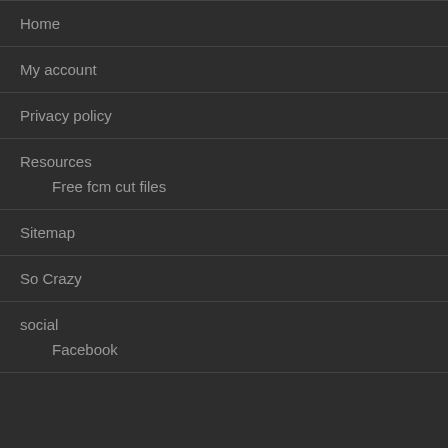Home
My account
Privacy policy
Resources
Free fcm cut files
Sitemap
So Crazy
social
Facebook